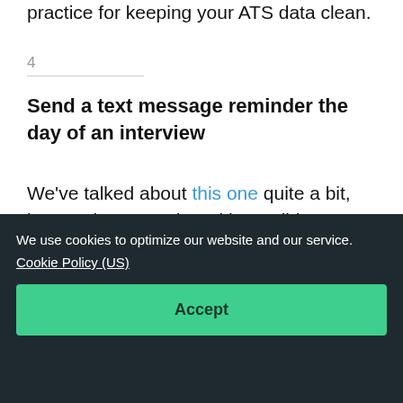practice for keeping your ATS data clean.
4
Send a text message reminder the day of an interview
We've talked about this one quite a bit, but staying proactive with candidates at critical stages like interviews, start dates etc... helps eliminate any speedbumps that can
We use cookies to optimize our website and our service.
Cookie Policy (US)
Accept